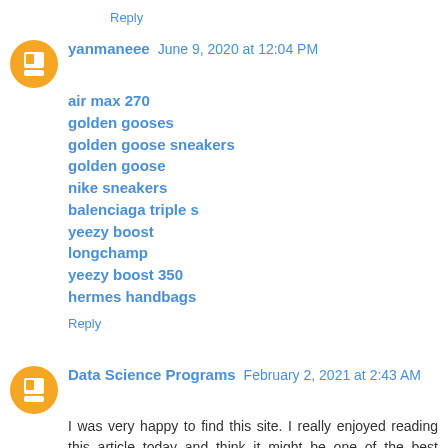Reply
yanmaneee  June 9, 2020 at 12:04 PM
air max 270
golden gooses
golden goose sneakers
golden goose
nike sneakers
balenciaga triple s
yeezy boost
longchamp
yeezy boost 350
hermes handbags
Reply
Data Science Programs  February 2, 2021 at 2:43 AM
I was very happy to find this site. I really enjoyed reading this article today and think it might be one of the best articles I have read so far. I wanted to thank you for this